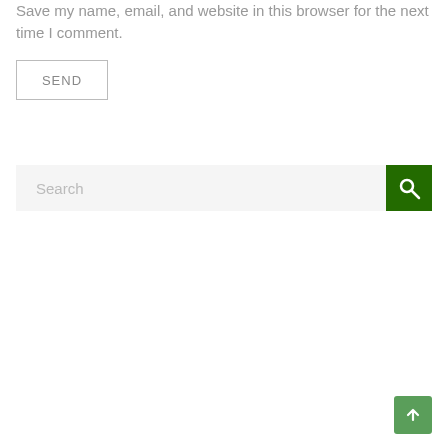Save my name, email, and website in this browser for the next time I comment.
[Figure (screenshot): SEND button with border]
[Figure (screenshot): Search bar with green search button icon on the right]
[Figure (screenshot): Back to top arrow button in green at bottom right corner]